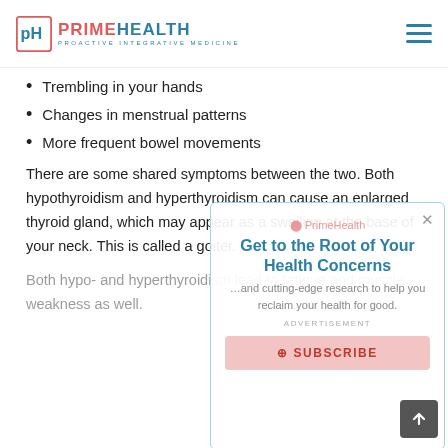PRIMEHEALTH PROACTIVE INTEGRATIVE MEDICINE
Trembling in your hands
Changes in menstrual patterns
More frequent bowel movements
There are some shared symptoms between the two. Both hypothyroidism and hyperthyroidism can cause an enlarged thyroid gland, which may appear as a swelling at the base of your neck. This is called a goiter.
Both hypo- and hyperthyroidism lead to fatigue and muscle weakness as well.
[Figure (screenshot): Popup overlay with PrimeHealth logo, heading 'Get to the Root of Your Health Concerns', body text about cutting-edge research, ADVERTISEMENT label, and SUBSCRIBE button]